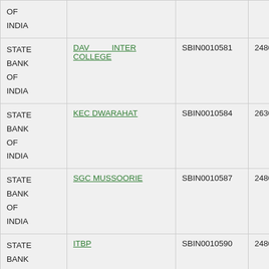| STATE BANK OF INDIA |  |  |  |
| STATE BANK OF INDIA | DAV INTER COLLEGE | SBIN0010581 | 248002030 |
| STATE BANK OF INDIA | KEC DWARAHAT | SBIN0010584 | 263002463 |
| STATE BANK OF INDIA | SGC MUSSOORIE | SBIN0010587 | 248002107 |
| STATE BANK OF INDIA | ITBP | SBIN0010590 | 248002031 |